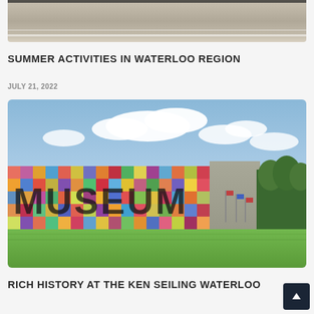[Figure (photo): Top portion of a road/street photo, partially cropped at the top of the page]
SUMMER ACTIVITIES IN WATERLOO REGION
JULY 21, 2022
[Figure (photo): Photo of the Ken Seiling Waterloo Region Museum exterior, featuring a colorful mosaic/tile facade with the word MUSEUM displayed, blue sky with clouds, green lawn in the foreground, and trees on the right]
RICH HISTORY AT THE KEN SEILING WATERLOO